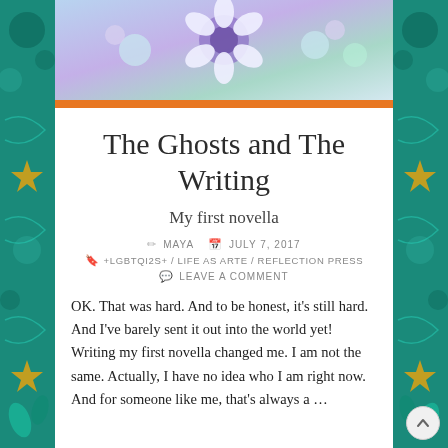[Figure (illustration): Decorative illustrated side panels with teal/green botanical patterns and gold stars on left and right edges]
[Figure (photo): Top banner image showing colorful floral illustration with purple, blue, and white flowers on a blue background]
The Ghosts and The Writing
My first novella
✏ MAYA 📅 JULY 7, 2017
🔖 +LGBTQI2S+ / LIFE AS ARTE / REFLECTION PRESS
💬 LEAVE A COMMENT
OK. That was hard. And to be honest, it's still hard. And I've barely sent it out into the world yet! Writing my first novella changed me. I am not the same. Actually, I have no idea who I am right now. And for someone like me, that's always a …